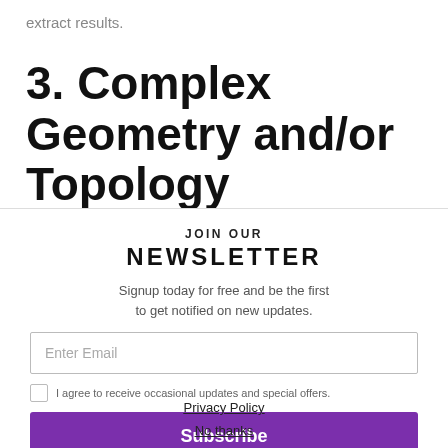extract results.
3. Complex Geometry and/or Topology
JOIN OUR
NEWSLETTER
Signup today for free and be the first to get notified on new updates.
Enter Email
I agree to receive occasional updates and special offers.
Subscribe
Privacy Policy
No thanks